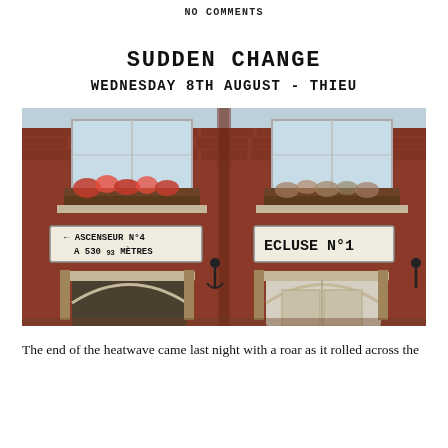NO COMMENTS
SUDDEN CHANGE
WEDNESDAY 8TH AUGUST - THIEU
[Figure (photo): Facade of a red brick building with two windows with flower boxes containing pink flowers, two arched lower windows, and two signs: one pointing left reading 'ASCENSEUR N°4 A 530 93 METRES' and another reading 'ECLUSE N°1']
The end of the heatwave came last night with a roar as it rolled across the